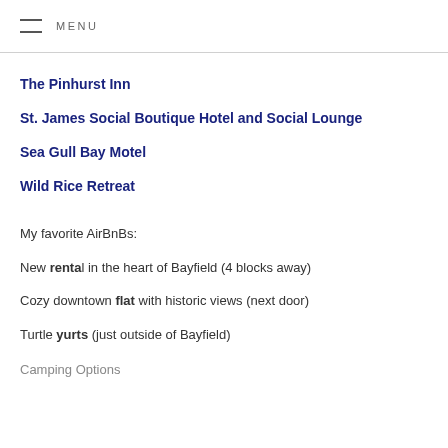MENU
The Pinhurst Inn
St. James Social Boutique Hotel and Social Lounge
Sea Gull Bay Motel
Wild Rice Retreat
My favorite AirBnBs:
New rental in the heart of Bayfield (4 blocks away)
Cozy downtown flat with historic views (next door)
Turtle yurts (just outside of Bayfield)
Camping Options